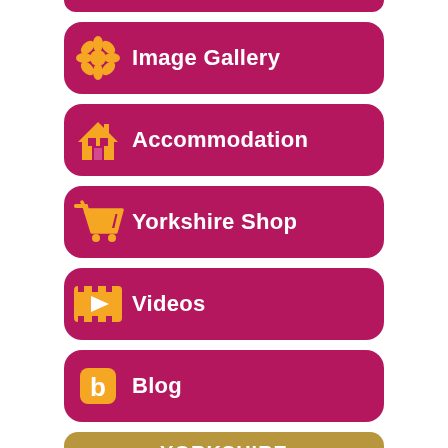Image Gallery
Accommodation
Yorkshire Shop
Videos
Blog
[Figure (photo): Yorkshire Experiences promotional box with outdoor photo showing sculptures/statues against a blue sky with clouds and trees]
YORKSHIRE EXPERIENCES